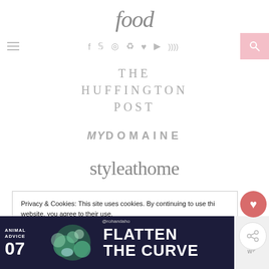food
≡  f  🐦  📷   pinterest  ♥  ▶  )))  🔍
[Figure (logo): THE HUFFINGTON POST logo in gray serif uppercase letters]
[Figure (logo): MYDOMAINE logo in gray bold uppercase letters]
[Figure (logo): styleathome logo in gray serif italic letters]
Privacy & Cookies: This site uses cookies. By continuing to use this website, you agree to their use.
To find out more, including how to control cookies, see here: Privacy Policy
[Figure (screenshot): Ad banner: ANIMAL ADVICE 07 FLATTEN THE CURVE with decorative image and close button]